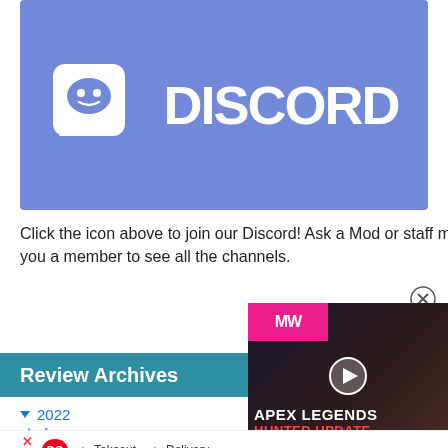[Figure (logo): Discord logo banner — purple/blue background with white Discord icon (speech bubble with controller face) and white DISCORD wordmark text]
Click the icon above to join our Discord! Ask a Mod or staff member to make you a member to see all the channels.
[Figure (screenshot): Video ad overlay: MW (Multiversus/Modern Warfare) logo on pink bar, game character image, play button, text reading APEX LEGENDS HUNTED UPDATE]
Review Archives
▼ 2022
► August
► July
[Figure (screenshot): Dairy Queen ad bar at bottom with DQ logo, checkmarks for Takeout and Delivery options, navigation arrow icon, and close X button]